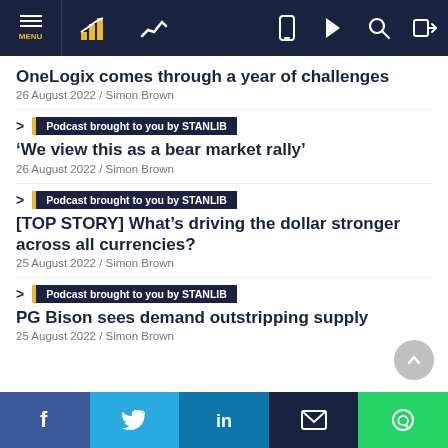MENU navigation bar with icons
OneLogix comes through a year of challenges
26 August 2022 / Simon Brown
Podcast brought to you by STANLIB
‘We view this as a bear market rally’
26 August 2022 / Simon Brown
Podcast brought to you by STANLIB
[TOP STORY] What’s driving the dollar stronger across all currencies?
25 August 2022 / Simon Brown
Podcast brought to you by STANLIB
PG Bison sees demand outstripping supply
25 August 2022 / Simon Brown
Social share bar: Facebook, Twitter, LinkedIn, Email, WhatsApp